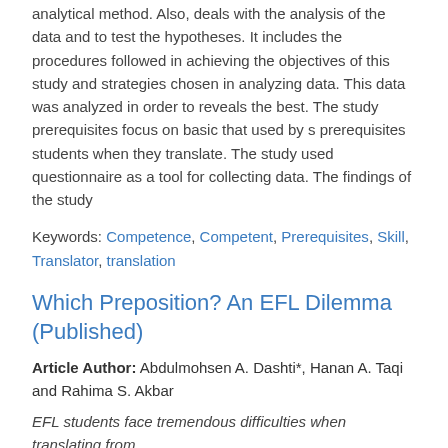analytical method. Also, deals with the analysis of the data and to test the hypotheses. It includes the procedures followed in achieving the objectives of this study and strategies chosen in analyzing data. This data was analyzed in order to reveals the best. The study prerequisites focus on basic that used by s prerequisites students when they translate. The study used questionnaire as a tool for collecting data. The findings of the study
Keywords: Competence, Competent, Prerequisites, Skill, Translator, translation
Which Preposition? An EFL Dilemma (Published)
Article Author: Abdulmohsen A. Dashti*, Hanan A. Taqi and Rahima S. Akbar
EFL students face tremendous difficulties when translating from